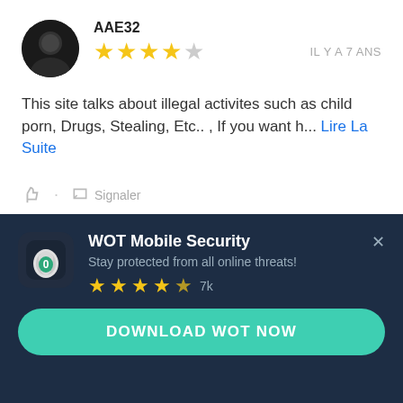[Figure (screenshot): Circular user avatar photo showing a dark silhouette profile picture]
AAE32
[Figure (other): 4 out of 5 stars rating]
IL Y A 7 ANS
This site talks about illegal activites such as child porn, Drugs, Stealing, Etc.. , If you want h... Lire La Suite
Signaler
[Figure (logo): WOT Mobile Security app icon - shield with green O letter]
WOT Mobile Security
Stay protected from all online threats!
[Figure (other): 4.5 out of 5 stars rating, 7k reviews]
DOWNLOAD WOT NOW